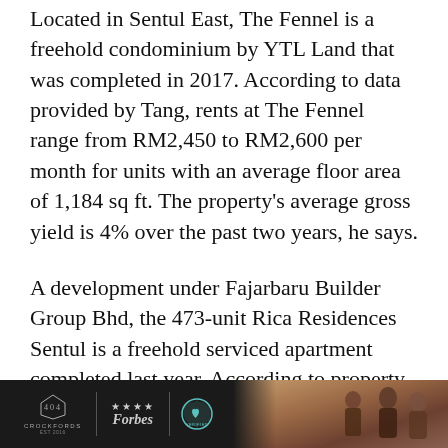Located in Sentul East, The Fennel is a freehold condominium by YTL Land that was completed in 2017. According to data provided by Tang, rents at The Fennel range from RM2,450 to RM2,600 per month for units with an average floor area of 1,184 sq ft. The property's average gross yield is 4% over the past two years, he says.
A development under Fajarbaru Builder Group Bhd, the 473-unit Rica Residences Sentul is a freehold serviced apartment completed last year. According to property listings on EdgeProp.my, asking
[Figure (other): Advertisement banner at the bottom of the page featuring Crockfords logo, Forbes stars logo, a verified badge logo, and a photo of people on a dark background.]